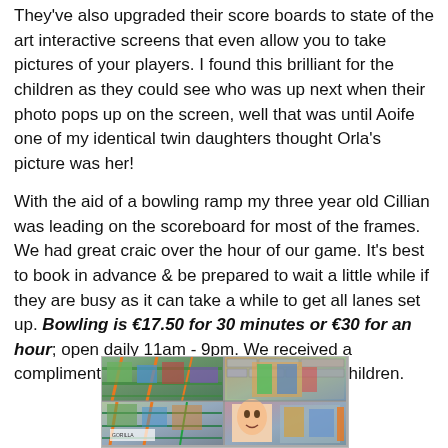They've also upgraded their score boards to state of the art interactive screens that even allow you to take pictures of your players. I found this brilliant for the children as they could see who was up next when their photo pops up on the screen, well that was until Aoife one of my identical twin daughters thought Orla's picture was her!
With the aid of a bowling ramp my three year old Cillian was leading on the scoreboard for most of the frames. We had great craic over the hour of our game. It's best to book in advance & be prepared to wait a little while if they are busy as it can take a while to get all lanes set up. Bowling is €17.50 for 30 minutes or €30 for an hour; open daily 11am - 9pm. We received a complimentary 1 hour game for 1 adult & 4 children.
[Figure (photo): Two side-by-side photos of an indoor children's play area / soft play centre with colourful scaffolding structures, slides and climbing frames.]